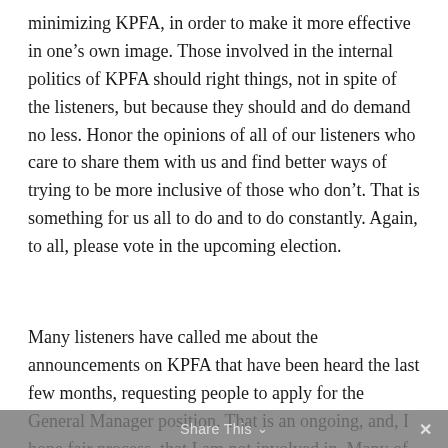minimizing KPFA, in order to make it more effective in one's own image. Those involved in the internal politics of KPFA should right things, not in spite of the listeners, but because they should and do demand no less. Honor the opinions of all of our listeners who care to share them with us and find better ways of trying to be more inclusive of those who don't. That is something for us all to do and to do constantly. Again, to all, please vote in the upcoming election.
Many listeners have called me about the announcements on KPFA that have been heard the last few months, requesting people to apply for the General Manager position. That is an ongoing, and, I hope fair process, that I am not involved in. Many of you want to know if I am
Share This ∨  ✕